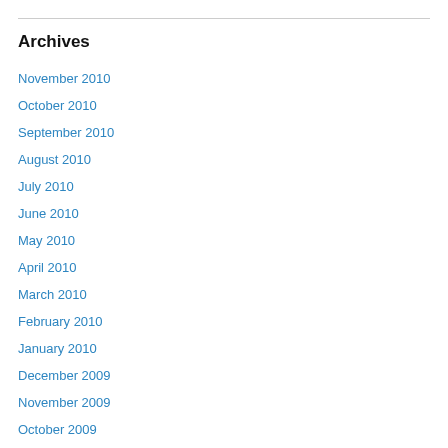Archives
November 2010
October 2010
September 2010
August 2010
July 2010
June 2010
May 2010
April 2010
March 2010
February 2010
January 2010
December 2009
November 2009
October 2009
September 2009
August 2009